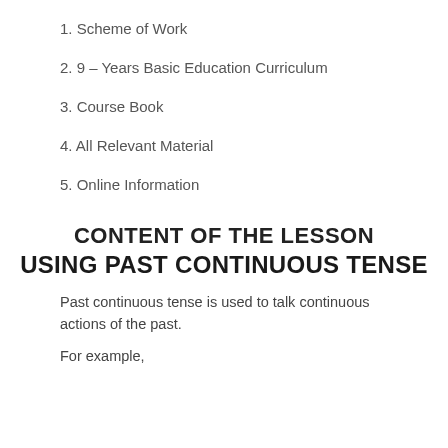1. Scheme of Work
2. 9 – Years Basic Education Curriculum
3. Course Book
4. All Relevant Material
5. Online Information
CONTENT OF THE LESSON
USING PAST CONTINUOUS TENSE
Past continuous tense is used to talk continuous actions of the past.
For example,